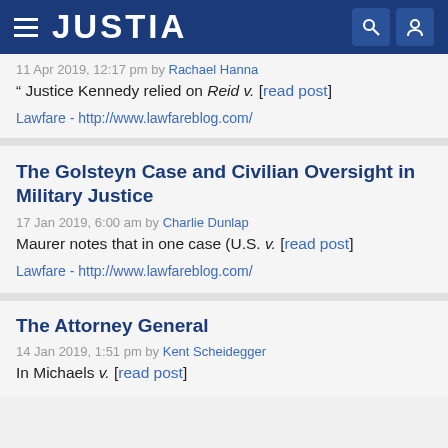JUSTIA
11 Apr 2019, 12:17 pm by Rachael Hanna
" Justice Kennedy relied on Reid v. [read post]
Lawfare - http://www.lawfareblog.com/
The Golsteyn Case and Civilian Oversight in Military Justice
17 Jan 2019, 6:00 am by Charlie Dunlap
Maurer notes that in one case (U.S. v. [read post]
Lawfare - http://www.lawfareblog.com/
The Attorney General
14 Jan 2019, 1:51 pm by Kent Scheidegger
In Michaels v. [read post]